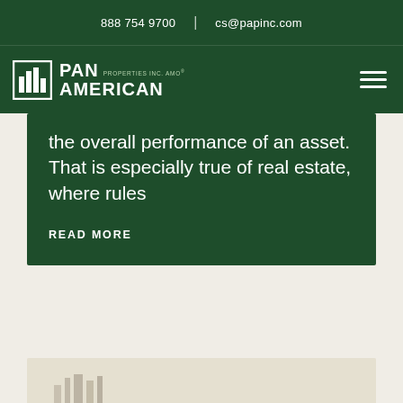888 754 9700  |  cs@papinc.com
[Figure (logo): Pan American Properties Inc. AMO logo - white building/bars icon with PAN AMERICAN text]
the overall performance of an asset. That is especially true of real estate, where rules
READ MORE
[Figure (photo): Partial view of a building or architectural photo at the bottom of the page]